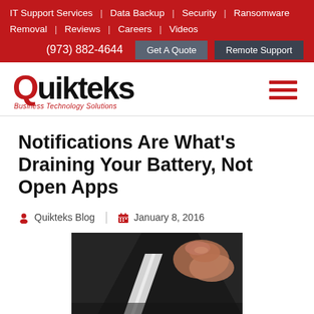IT Support Services | Data Backup | Security | Ransomware Removal | Reviews | Careers | Videos | (973) 882-4644 | Get A Quote | Remote Support
[Figure (logo): Quikteks Business Technology Solutions logo with red Q and hamburger menu icon]
Notifications Are What’s Draining Your Battery, Not Open Apps
Quikteks Blog | January 8, 2016
[Figure (photo): A hand holding a dark smartphone, closeup showing the edge of the device with light reflection]